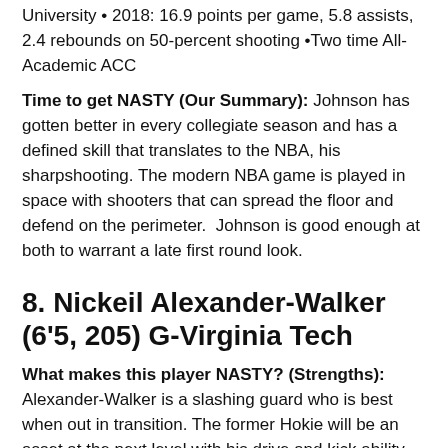University • 2018: 16.9 points per game, 5.8 assists, 2.4 rebounds on 50-percent shooting •Two time All-Academic ACC
Time to get NASTY (Our Summary): Johnson has gotten better in every collegiate season and has a defined skill that translates to the NBA, his sharpshooting. The modern NBA game is played in space with shooters that can spread the floor and defend on the perimeter. Johnson is good enough at both to warrant a late first round look.
8. Nickeil Alexander-Walker (6'5, 205) G-Virginia Tech
What makes this player NASTY? (Strengths): Alexander-Walker is a slashing guard who is best when out in transition. The former Hokie will be an asset at the next level with his drive and kick ability. Alexander-Walker doesn't wow with his athleticism but his smooth in control game reminds me of